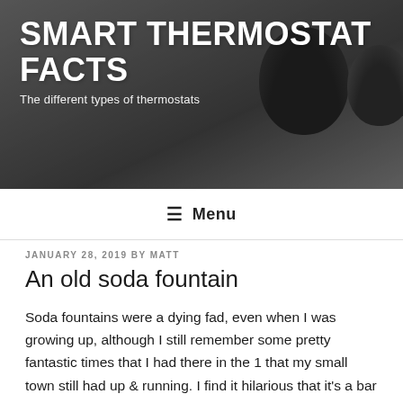SMART THERMOSTAT FACTS
The different types of thermostats
≡ Menu
JANUARY 28, 2019 BY MATT
An old soda fountain
Soda fountains were a dying fad, even when I was growing up, although I still remember some pretty fantastic times that I had there in the 1 that my small town still had up & running. I find it hilarious that it's a bar now, although I assume that has not too crazy, but especially considering that I still visit now & again! Well there is 1 fantastic reason why I visited it so often as a